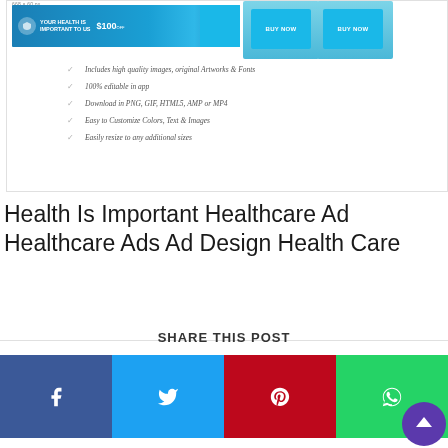[Figure (screenshot): Preview card showing a healthcare banner ad (blue background, 'YOUR HEALTH IS IMPORTANT TO US', $100, doctor image) and two 'BUY NOW' buttons with doctor photos, plus a checklist of features below.]
Includes high quality images, original Artworks & Fonts
100% editable in app
Download in PNG, GIF, HTML5, AMP or MP4
Easy to Customize Colors, Text & Images
Easily resize to any additional sizes
Health Is Important Healthcare Ad Healthcare Ads Ad Design Health Care
SHARE THIS POST
[Figure (infographic): Social sharing buttons row: Facebook (dark blue), Twitter (light blue), Pinterest (red), WhatsApp (green), with a purple scroll-to-top circular button overlapping the bottom right.]